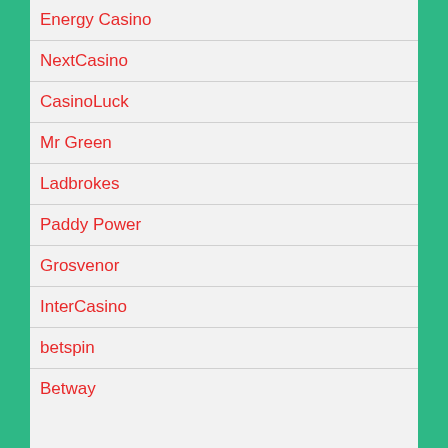Energy Casino
NextCasino
CasinoLuck
Mr Green
Ladbrokes
Paddy Power
Grosvenor
InterCasino
betspin
Betway